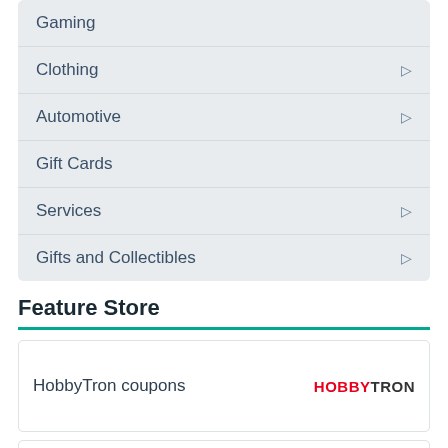Gaming
Clothing
Automotive
Gift Cards
Services
Gifts and Collectibles
Feature Store
HobbyTron coupons
DressLily.com coupons
Glow Source coupons